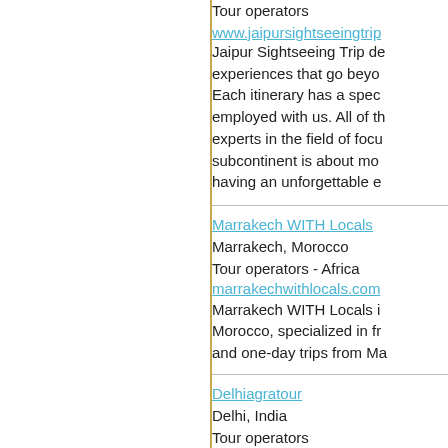Tour operators
www.jaipursightseeingtri...
Jaipur Sightseeing Trip de... experiences that go beyo... Each itinerary has a spec... employed with us. All of t... experts in the field of focu... subcontinent is about mo... having an unforgettable e...
Marrakech WITH Locals
Marrakech, Morocco
Tour operators - Africa
marrakechwithlocals.com
Marrakech WITH Locals i... Morocco, specialized in fr... and one-day trips from Ma...
Delhiagratour
Delhi, India
Tour operators
delhiagratourpackage.com
Online Car rent in Delhi, C... Car Booking Services, Ca... Airport, Cab hire